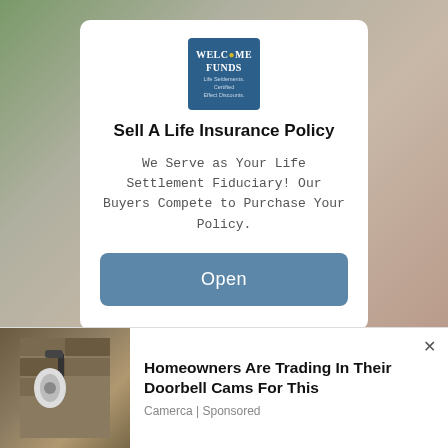[Figure (logo): Welcome Funds logo — dark blue square with 'Welcome Funds' text and a yellow circle]
Sell A Life Insurance Policy
We Serve as Your Life Settlement Fiduciary! Our Buyers Compete to Purchase Your Policy.
Open
Ads by FatChilli
A faction of the Government led by Prime Minister Wickremesinghe and supported by
[Figure (photo): Outdoor wall-mounted security camera/light fixture on stone wall]
Homeowners Are Trading In Their Doorbell Cams For This
Camerca | Sponsored